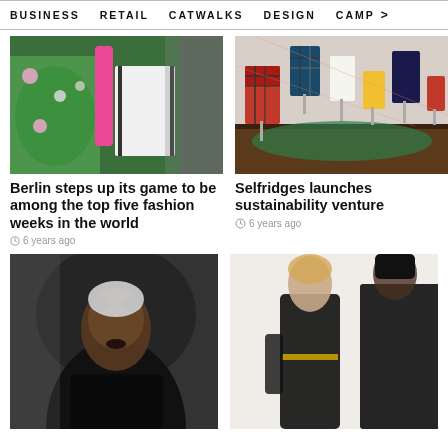BUSINESS   RETAIL   CATWALKS   DESIGN   CAMP >
[Figure (photo): Close-up of shopping bags with floral print and pink/red accessories]
Berlin steps up its game to be among the top five fashion weeks in the world
6 years ago
[Figure (photo): Display of colorful designer lamps with tartan and solid color shades]
Selfridges launches sustainability venture
6 years ago
[Figure (photo): Fashion model with short silver hair and dark makeup wearing black outfit]
[Figure (photo): Two women in black leather dresses posing against white background]